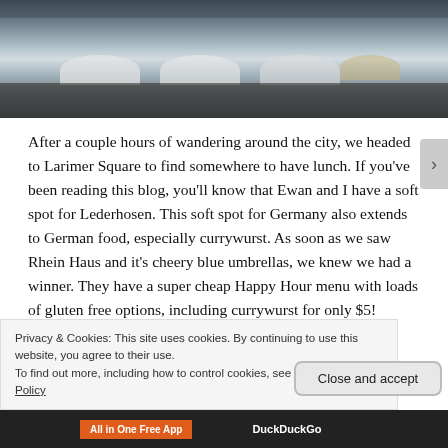[Figure (photo): Outdoor photo of Larimer Square or similar urban area with white umbrellas over an outdoor dining area, historic building facade visible in background, people walking.]
After a couple hours of wandering around the city, we headed to Larimer Square to find somewhere to have lunch. If you've been reading this blog, you'll know that Ewan and I have a soft spot for Lederhosen. This soft spot for Germany also extends to German food, especially currywurst. As soon as we saw Rhein Haus and it's cheery blue umbrellas, we knew we had a winner. They have a super cheap Happy Hour menu with loads of gluten free options, including currywurst for only $5! Thinking that the portions would be as small as the
Privacy & Cookies: This site uses cookies. By continuing to use this website, you agree to their use.
To find out more, including how to control cookies, see here: Cookie Policy
Close and accept
All in One Free App    DuckDuckGo